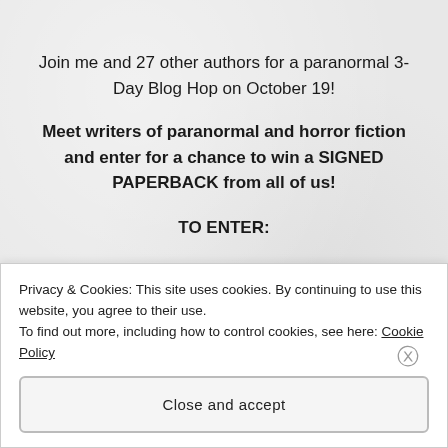Join me and 27 other authors for a paranormal 3-Day Blog Hop on October 19!
Meet writers of paranormal and horror fiction and enter for a chance to win a SIGNED PAPERBACK from all of us!
TO ENTER:
Privacy & Cookies: This site uses cookies. By continuing to use this website, you agree to their use.
To find out more, including how to control cookies, see here: Cookie Policy
Close and accept